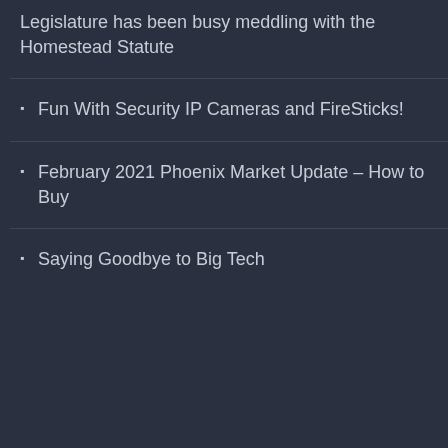Legislature has been busy meddling with the Homestead Statute
Fun With Security IP Cameras and FireSticks!
February 2021 Phoenix Market Update – How to Buy
Saying Goodbye to Big Tech